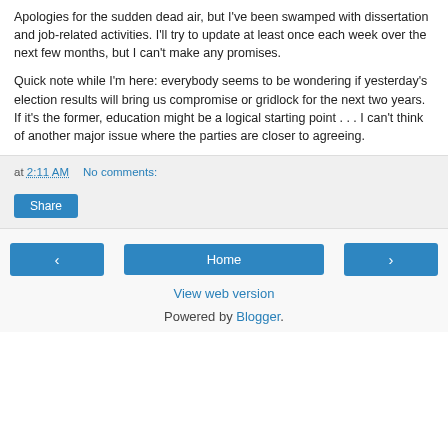Apologies for the sudden dead air, but I've been swamped with dissertation and job-related activities. I'll try to update at least once each week over the next few months, but I can't make any promises.
Quick note while I'm here: everybody seems to be wondering if yesterday's election results will bring us compromise or gridlock for the next two years. If it's the former, education might be a logical starting point . . . I can't think of another major issue where the parties are closer to agreeing.
at 2:11 AM   No comments:
Share
‹
Home
›
View web version
Powered by Blogger.